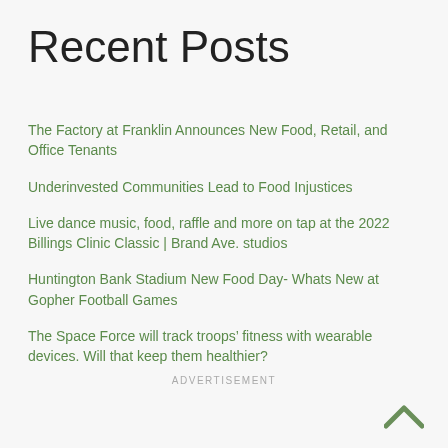Recent Posts
The Factory at Franklin Announces New Food, Retail, and Office Tenants
Underinvested Communities Lead to Food Injustices
Live dance music, food, raffle and more on tap at the 2022 Billings Clinic Classic | Brand Ave. studios
Huntington Bank Stadium New Food Day- Whats New at Gopher Football Games
The Space Force will track troops’ fitness with wearable devices. Will that keep them healthier?
ADVERTISEMENT